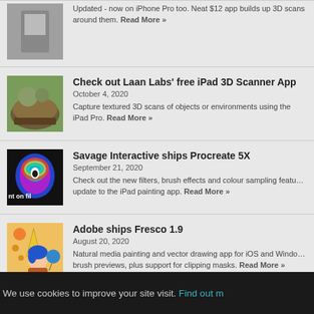Updated - now on iPhone Pro too. Neat $12 app builds up 3D scans around them. Read More »
Check out Laan Labs' free iPad 3D Scanner App
October 4, 2020
Capture textured 3D scans of objects or environments using the iPad Pro. Read More »
Savage Interactive ships Procreate 5X
September 21, 2020
Check out the new filters, brush effects and colour sampling features in this update to the iPad painting app. Read More »
Adobe ships Fresco 1.9
August 20, 2020
Natural media painting and vector drawing app for iOS and Windows gains live brush previews, plus support for clipping masks. Read More »
We use cookies to improve your site visit. Find out more